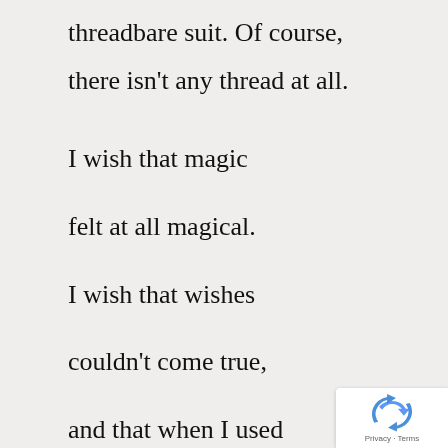threadbare suit. Of course,
there isn't any thread at all.
I wish that magic
felt at all magical.
I wish that wishes
couldn't come true,
and that when I used
to stare at the framed
[Figure (logo): Google reCAPTCHA badge with recycling arrow icon and Privacy · Terms links]